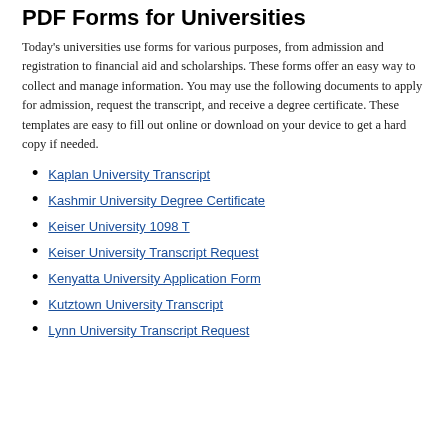PDF Forms for Universities
Today's universities use forms for various purposes, from admission and registration to financial aid and scholarships. These forms offer an easy way to collect and manage information. You may use the following documents to apply for admission, request the transcript, and receive a degree certificate. These templates are easy to fill out online or download on your device to get a hard copy if needed.
Kaplan University Transcript
Kashmir University Degree Certificate
Keiser University 1098 T
Keiser University Transcript Request
Kenyatta University Application Form
Kutztown University Transcript
Lynn University Transcript Request